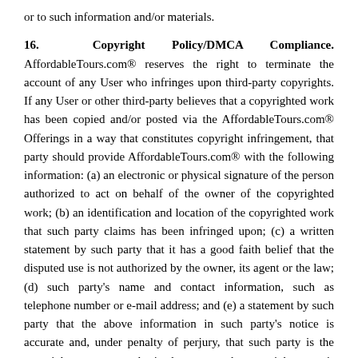or to such information and/or materials.
16. Copyright Policy/DMCA Compliance. AffordableTours.com® reserves the right to terminate the account of any User who infringes upon third-party copyrights. If any User or other third-party believes that a copyrighted work has been copied and/or posted via the AffordableTours.com® Offerings in a way that constitutes copyright infringement, that party should provide AffordableTours.com® with the following information: (a) an electronic or physical signature of the person authorized to act on behalf of the owner of the copyrighted work; (b) an identification and location of the copyrighted work that such party claims has been infringed upon; (c) a written statement by such party that it has a good faith belief that the disputed use is not authorized by the owner, its agent or the law; (d) such party's name and contact information, such as telephone number or e-mail address; and (e) a statement by such party that the above information in such party's notice is accurate and, under penalty of perjury, that such party is the copyright owner or authorized to act on the copyright owner's behalf. Contact information for AffordableTours.com's® Copyright Agent for notice of claims of copyright infringement is as